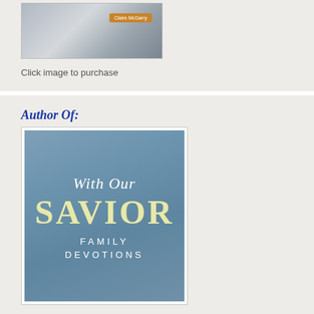[Figure (photo): Book cover image showing a nature/water scene with 'Claire McGarry' author badge in orange]
Click image to purchase
Author Of:
[Figure (illustration): Book cover for 'With Our Savior: Family Devotions' with blue-gray background, white script title text and yellow 'SAVIOR' in large serif font]